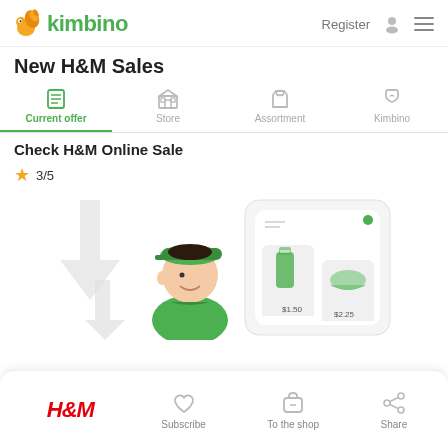kimbino  Register
New H&M Sales
Current offer | Store | Assortment | Kimbino
Check H&M Online Sale
3/5
[Figure (illustration): Illustration of a delivery person wearing a green uniform and cap, standing next to a smartphone app showing grocery items priced at $1.50 and $2.25, with decorative arrow shapes in the background.]
H&M  Subscribe  To the shop  Share